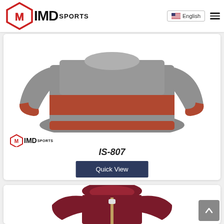IMD SPORTS — en English navigation header
[Figure (photo): Product photo of a gray and rust/orange striped wool sweater with IMD Sports logo watermark]
IS-807
Quick View
[Figure (photo): Product photo of a dark burgundy/maroon zip-up hoodie with hood visible]